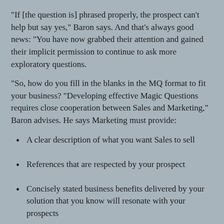"If [the question is] phrased properly, the prospect can't help but say yes," Baron says. And that's always good news: "You have now grabbed their attention and gained their implicit permission to continue to ask more exploratory questions.
"So, how do you fill in the blanks in the MQ format to fit your business? "Developing effective Magic Questions requires close cooperation between Sales and Marketing," Baron advises. He says Marketing must provide:
A clear description of what you want Sales to sell
References that are respected by your prospect
Concisely stated business benefits delivered by your solution that you know will resonate with your prospects
Finally, Baron notes, Marketing must ensure that sales reps are properly educated to "drive the conversation further and accelerate the sales cycle" once the prospect is hooked by the Magic